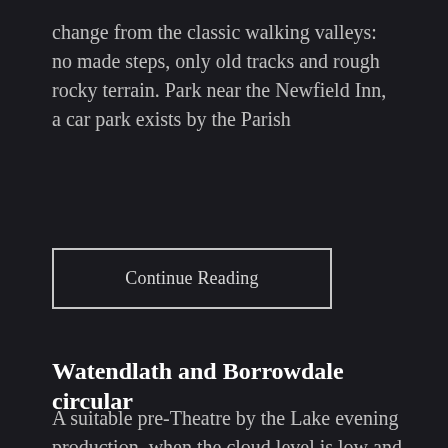change from the classic walking valleys: no made steps, only old tracks and rough rocky terrain. Park near the Newfield Inn, a car park exists by the Parish
Continue Reading
Watendlath and Borrowdale circular
A suitable pre-Theatre by the Lake evening production, when the cloud level is low and you don't fancy walking with no views in the damp. It comes to just under 9 miles with 2100ft of ascent. From the Lodore Wood car park up the